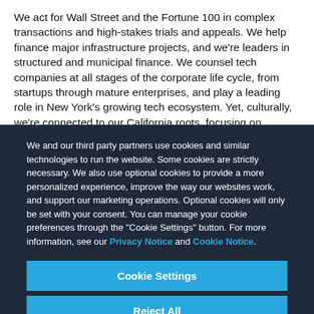We act for Wall Street and the Fortune 100 in complex transactions and high-stakes trials and appeals. We help finance major infrastructure projects, and we're leaders in structured and municipal finance. We counsel tech companies at all stages of the corporate life cycle, from startups through mature enterprises, and play a leading role in New York's growing tech ecosystem. Yet, culturally, we're connected to our California roots, focusing on
We and our third party partners use cookies and similar technologies to run the website. Some cookies are strictly necessary. We also use optional cookies to provide a more personalized experience, improve the way our websites work, and support our marketing operations. Optional cookies will only be set with your consent. You can manage your cookie preferences through the "Cookie Settings" button. For more information, see our Privacy Notice and Cookie Notice.
Cookie Settings
Reject All